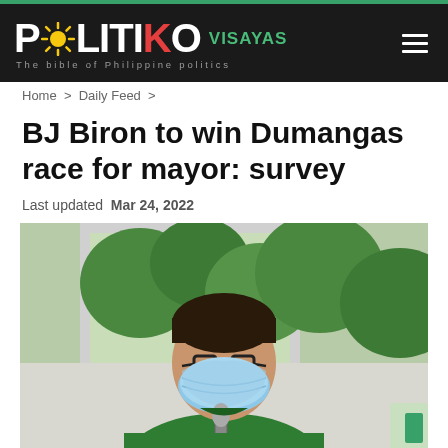POLITIKO VISAYAS — The bible of Philippine politics
Home > Daily Feed >
BJ Biron to win Dumangas race for mayor: survey
Last updated Mar 24, 2022
[Figure (photo): Young man wearing glasses and a light blue surgical mask, dressed in a green polo shirt, holding a microphone, with green foliage visible through a window in the background.]